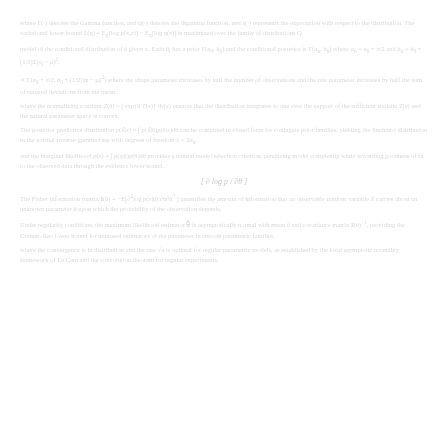where Γ(·) denotes the Gamma function, and ψ(·) denotes the digamma function, and ε(·) represents the expectation with respect to the distribution.
model of the conditional distribution of θ given x. Each θ_i has a prior Γ(a_0, b_0) and the conditional posterior is Γ(a_n, b_n) where a_n = a_0 + n/2 and b_n = b_0 + (1/2)Σ(x_i - μ)².
∝ Γ(a_0 + n/2, b_0 + (1/2)||x - μ||²) where the shape parameter increases by half the number of observations and the rate parameter increases by half the sum of squared deviations.
where the normalizing constant Z(θ) = ∫ exp{θ·T(x)} dν(x) ensures that the distribution integrates to one over the support of the sufficient statistic T(x).
The posterior predictive distribution p(x̃|x) = ∫ p(x̃|θ)p(θ|x)dθ can be computed in closed form for conjugate prior families, yielding the Student-t distribution in the normal-inverse-gamma case.
and the marginal likelihood p(x) = ∫ p(x|θ)p(θ)dθ provides a natural model selection criterion, penalizing model complexity while rewarding goodness of fit to the observed data.
The Fisher information matrix I(θ) = −E[∂²log p(x|θ)/∂θ∂θᵀ] quantifies the amount of information that an observable random variable X carries about an unknown parameter θ upon which the probability depends.
Under regularity conditions, the maximum likelihood estimator θ̂ is asymptotically normal with mean θ and covariance matrix I(θ)⁻¹, providing the Cramér-Rao lower bound for unbiased estimators.
where the convergence is in distribution and the rate √n is optimal for regular parametric models, as established by the local asymptotic normality framework of Le Cam.